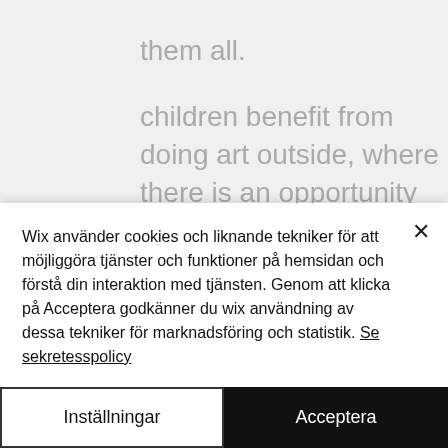them all.
children benefit from doing art outside, where there is an opportunity to experiment with paints and materials in a way that indoor art seldom allows you
the wall is massive... if allows children to think big, no small paper here, there is space to really go wild, to paint with the whole body - to stretch high and
Wix använder cookies och liknande tekniker för att möjliggöra tjänster och funktioner på hemsidan och förstå din interaktion med tjänsten. Genom att klicka på Acceptera godkänner du wix användning av dessa tekniker för marknadsföring och statistik. Se sekretesspolicy
Inställningar
Acceptera